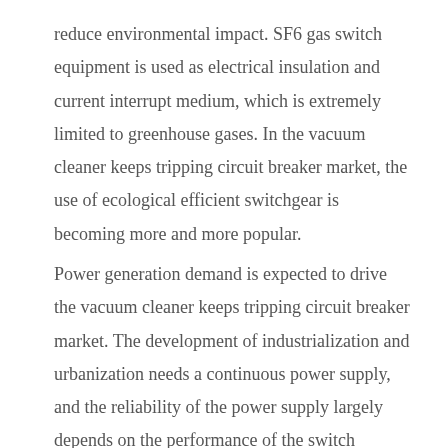reduce environmental impact. SF6 gas switch equipment is used as electrical insulation and current interrupt medium, which is extremely limited to greenhouse gases. In the vacuum cleaner keeps tripping circuit breaker market, the use of ecological efficient switchgear is becoming more and more popular.
Power generation demand is expected to drive the vacuum cleaner keeps tripping circuit breaker market. The development of industrialization and urbanization needs a continuous power supply, and the reliability of the power supply largely depends on the performance of the switch cabinet. Energy production is growing sustainably, demand is growing in both rural and urban areas, and the integration of protected vacuum cleaner keeps tripping circuit breaker